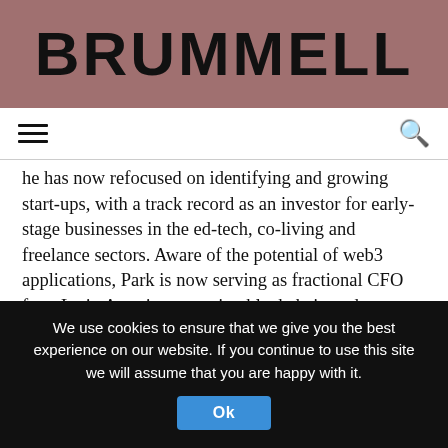BRUMMELL
he has now refocused on identifying and growing start-ups, with a track record as an investor for early-stage businesses in the ed-tech, co-living and freelance sectors. Aware of the potential of web3 applications, Park is now serving as fractional CFO for a Latin America operating blockchain and crypto business, Delnorte Holdings. He is a supporter of the charity Global Witness, which challenges abuses of power to protect human rights and the environment, and has contributed to research in their investigative articles.
CHRISTOPHER PRICE
We use cookies to ensure that we give you the best experience on our website. If you continue to use this site we will assume that you are happy with it.